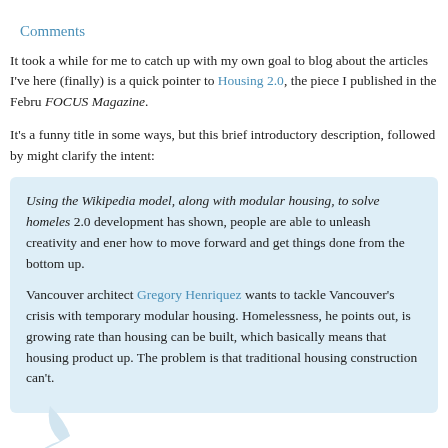Comments
It took a while for me to catch up with my own goal to blog about the articles I've here (finally) is a quick pointer to Housing 2.0, the piece I published in the Febru FOCUS Magazine.
It's a funny title in some ways, but this brief introductory description, followed by might clarify the intent:
Using the Wikipedia model, along with modular housing, to solve homeles 2.0 development has shown, people are able to unleash creativity and ener how to move forward and get things done from the bottom up.

Vancouver architect Gregory Henriquez wants to tackle Vancouver's crisis with temporary modular housing. Homelessness, he points out, is growing rate than housing can be built, which basically means that housing product up. The problem is that traditional housing construction can't.
So, the gist is that it's another attempt on my part to shift our thinking away from to "let the people do it." If we have a group of people who've become systematic (sometimes through their own bad choices, sometimes through the bad choices